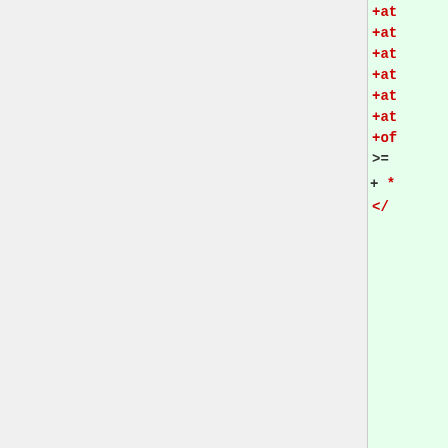</code>
===== Backward Incompatible Changes =====
-None, except that the class name ''CachingIterable'' will be declared by PHP and conflict with applications declaring the same class name in that namespace.